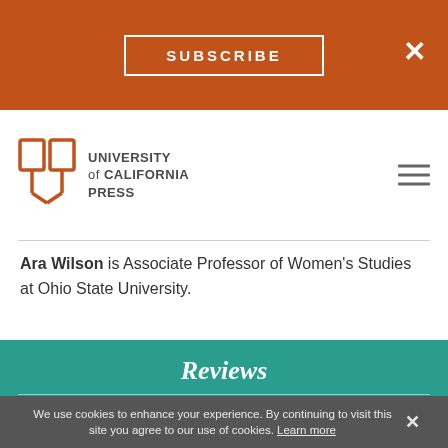SUBSCRIBE
[Figure (logo): University of California Press logo with stylized open book icon and text 'UNIVERSITY of CALIFORNIA PRESS']
Ara Wilson is Associate Professor of Women's Studies at Ohio State University.
Reviews
"Wilson shows us how global dreams come to life in the cacophony of Bangkok's markets. Business tycoons, sex
We use cookies to enhance your experience. By continuing to visit this site you agree to our use of cookies. Learn more